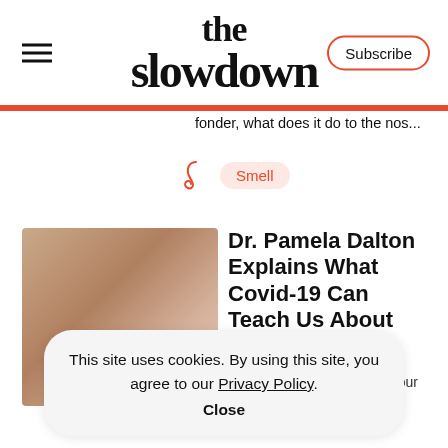the slowdown — Subscribe
fonder, what does it do to the nos...
Smell
[Figure (photo): Blurred portrait photo, warm brown and beige tones]
Dr. Pamela Dalton Explains What Covid-19 Can Teach Us About Smell
The mysteries surrounding our the...
This site uses cookies. By using this site, you agree to our Privacy Policy.
Close